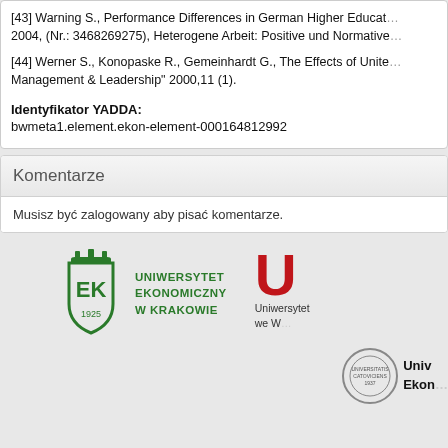[43] Warning S., Performance Differences in German Higher Education 2004, (Nr.: 3468269275), Heterogene Arbeit: Positive und Normative
[44] Werner S., Konopaske R., Gemeinhardt G., The Effects of United Management & Leadership" 2000,11 (1).
Identyfikator YADDA:
bwmeta1.element.ekon-element-000164812992
Komentarze
Musisz być zalogowany aby pisać komentarze.
[Figure (logo): Uniwersytet Ekonomiczny w Krakowie logo — green shield emblem with crown and 1925, with text UNIWERSYTET EKONOMICZNY W KRAKOWIE]
[Figure (logo): Partial red U letter logo with text Uniwersytet ... we W...]
[Figure (logo): Partial circular university seal at bottom right with text Univ Ekon...]